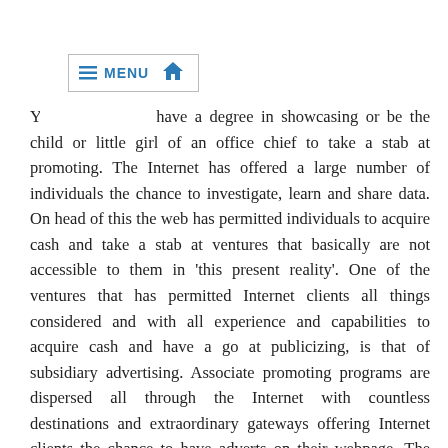≡ MENU 🏠
You do not must have a degree in showcasing or be the child or little girl of an office chief to take a stab at promoting. The Internet has offered a large number of individuals the chance to investigate, learn and share data. On head of this the web has permitted individuals to acquire cash and take a stab at ventures that basically are not accessible to them in 'this present reality'. One of the ventures that has permitted Internet clients all things considered and with all experience and capabilities to acquire cash and have a go at publicizing, is that of subsidiary advertising. Associate promoting programs are dispersed all through the Internet with countless destinations and extraordinary gateways offering Internet clients the chance to have adverts on their webpage. The subsidiaries do not have to concern themselves about making notices or in any event, paying any cash to the destinations, everything is